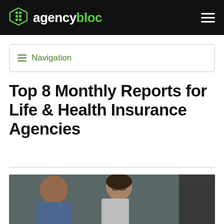agencybloc
≡ Navigation
Top 8 Monthly Reports for Life & Health Insurance Agencies
[Figure (photo): Two professionals in an office setting — a bearded man in a blue shirt on the left and a woman with glasses and dark hair on the right, appearing to review work together at a desk]